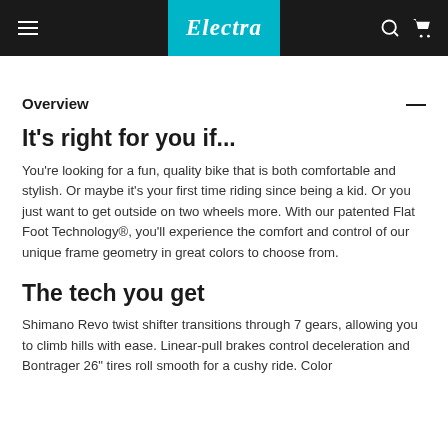Electra (logo)
Overview
It's right for you if...
You're looking for a fun, quality bike that is both comfortable and stylish. Or maybe it's your first time riding since being a kid. Or you just want to get outside on two wheels more. With our patented Flat Foot Technology®, you'll experience the comfort and control of our unique frame geometry in great colors to choose from.
The tech you get
Shimano Revo twist shifter transitions through 7 gears, allowing you to climb hills with ease. Linear-pull brakes control deceleration and Bontrager 26" tires roll smooth for a cushy ride. Color